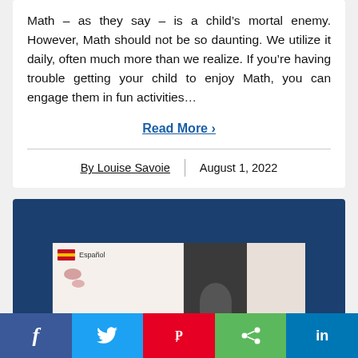Math – as they say – is a child's mortal enemy. However, Math should not be so daunting. We utilize it daily, often much more than we realize. If you're having trouble getting your child to enjoy Math, you can engage them in fun activities...
Read More ›
By Louise Savoie | August 1, 2022
[Figure (photo): A dark blue background image showing educational materials including a Spanish language card with flag, some pink blob shapes, a person in the center, a textured brown material, and pink/beige papers on the right.]
Social sharing bar with Facebook, Twitter, Pinterest, Share, and LinkedIn buttons